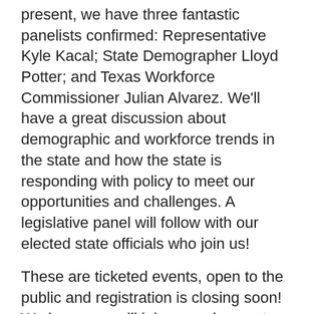present, we have three fantastic panelists confirmed: Representative Kyle Kacal; State Demographer Lloyd Potter; and Texas Workforce Commissioner Julian Alvarez. We'll have a great discussion about demographic and workforce trends in the state and how the state is responding with policy to meet our opportunities and challenges. A legislative panel will follow with our elected state officials who join us!
These are ticketed events, open to the public and registration is closing soon! We hope you will join us and come to learn more about the opportunities and challenges for our community, state and nation, and how you can be a part of influencing policy for good!
Visit us online at wacochamber.com/state-of-events/ for more details, ticket prices and registration.